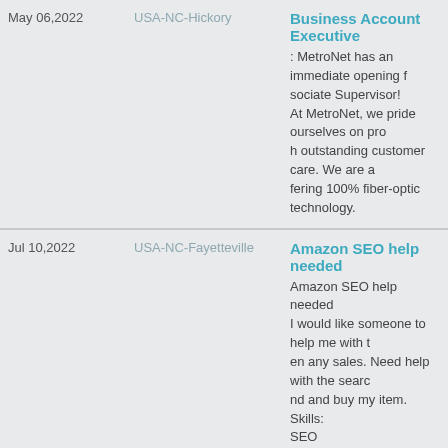| Date | Location | Job Listing |
| --- | --- | --- |
| May 06,2022 | USA-NC-Hickory | Business Account Executive : MetroNet has an immediate opening f... sociate Supervisor! At MetroNet, we pride ourselves on pro... h outstanding customer care. We are a... fering 100% fiber-optic technology. |
| Jul 10,2022 | USA-NC-Fayetteville | Amazon SEO help needed Amazon SEO help needed I would like someone to help me with t... en any sales. Need help with the searc... nd and buy my item. Skills: SEO , Internet Marketing , Google Analytics , Amazon Listings Optimization |
| Jul 10,2022 | USA-NC-Pinetops | Professional Business Plan -- 2 Professional Business Plan -- 2 Create a business plan for a new busi... |